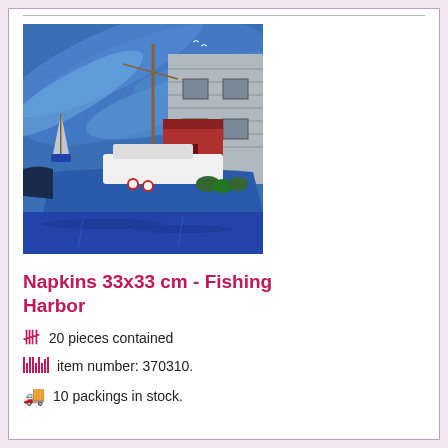[Figure (illustration): Painting of a fishing harbor scene with boats docked near wooden buildings, blue sky with dynamic clouds, sailboat in background, rowboat in foreground]
Napkins 33x33 cm - Fishing Harbor
20 pieces contained
item number: 370310.
10 packings in stock.